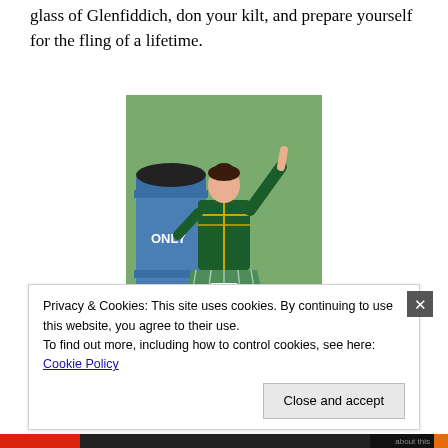glass of Glenfiddich, don your kilt, and prepare yourself for the fling of a lifetime.
[Figure (photo): A young girl in a green and gold Scottish Highland dance costume with a green plaid skirt and number 208 bib, dancing outdoors with one leg raised. A blue barrel labeled 'ONLY' is visible in the background.]
Privacy & Cookies: This site uses cookies. By continuing to use this website, you agree to their use.
To find out more, including how to control cookies, see here: Cookie Policy
Close and accept